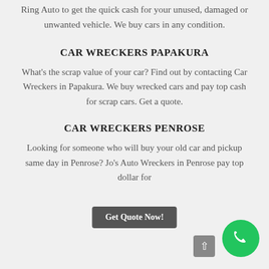Ring Auto to get the quick cash for your unused, damaged or unwanted vehicle. We buy cars in any condition.
CAR WRECKERS PAPAKURA
What's the scrap value of your car? Find out by contacting Car Wreckers in Papakura. We buy wrecked cars and pay top cash for scrap cars. Get a quote.
CAR WRECKERS PENROSE
Looking for someone who will buy your old car and pickup same day in Penrose? Jo's Auto Wreckers in Penrose pay top dollar for
Get Quote Now!